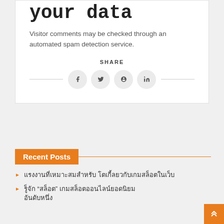your data
Visitor comments may be checked through an automated spam detection service.
SHARE
[Figure (other): Social share buttons: Facebook, Twitter, Pinterest, LinkedIn icons in grey circles with decorative lines on either side]
Recent Posts
[Thai text post title 1]
[Thai text post title 2 with quoted word]